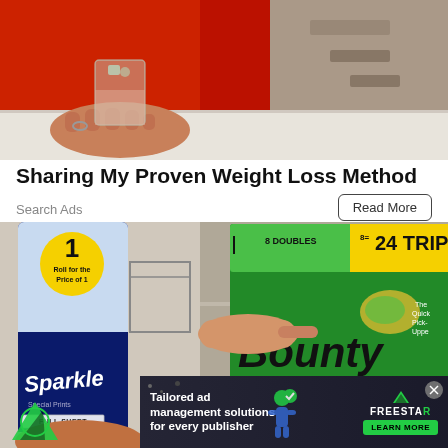[Figure (photo): Photo of person in red shirt holding a glass with liquid on a light wooden table surface]
Sharing My Proven Weight Loss Method
Search Ads
Read More
[Figure (photo): Side-by-side photo of Sparkle paper towels (Full Sheet) on the left and Bounty 8-24 Triples paper towels on the right, with a hand pointing at the Bounty packages. An ad overlay at the bottom reads 'Tailored ad management solutions for every publisher' with Freestar logo and Learn More button.]